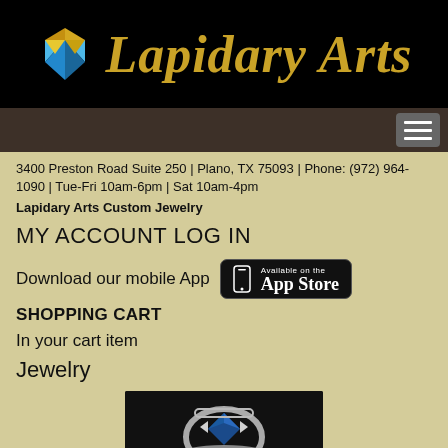[Figure (logo): Lapidary Arts logo with colorful geometric diamond/gem icon and gold italic serif text reading 'Lapidary Arts' on black background]
[Figure (screenshot): Navigation bar with dark brown background and hamburger menu button (three horizontal lines) in grey rounded rectangle on right side]
3400 Preston Road Suite 250 | Plano, TX 75093 | Phone: (972) 964-1090 | Tue-Fri 10am-6pm | Sat 10am-4pm
Lapidary Arts Custom Jewelry
MY ACCOUNT LOG IN
Download our mobile App
[Figure (logo): App Store badge: black rounded rectangle with phone icon, 'Available on the' small text and 'App Store' large text in white]
SHOPPING CART
In your cart item
Jewelry
[Figure (photo): Jewelry ring photo showing a diamond and sapphire ring on dark background, partially visible at bottom of page]